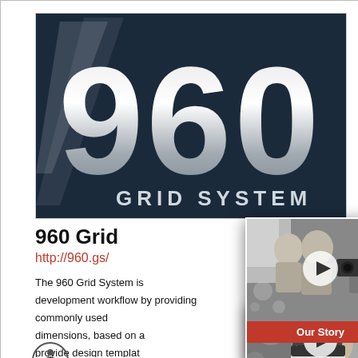[Figure (logo): 960 Grid System logo: dark navy background with large silver '960' text and 'GRID SYSTEM' below]
960 Grid
http://960.gs/
The 960 Grid System is an effort to streamline web development workflow by providing commonly used dimensions, based on a width of 960 pixels. There are two variants: 12 and 16 columns. The 12-column grid is divided into portions that are 60 pixels wide. The 16-column grid consists of 40 pixel-wide columns. Both have 10 pixel margins on the left and right, which create 20 pixel gutters between each column. The media assets provide templates for a design workflow that aid in organizing and arranging content. Designers can start on a layout immediately without having to calculate the dimensions of each column. Also, communicating ideas becomes a lot easier. The overall width is 960 pixels. This allows for the most common display setting, 1024×768, and has enough room for a scrollbar without forcing the user to scroll horizontally. For print-based design, a 960 pixel grid can be divided by 1, 2, 3, 4, 5, 6, 8, 10, 12, 15, 16, 20, 24, 30, 32, 40, 48, 60, 64, 80, 96, 120, 160, 192, 240, 320 and 480, making it a highly flexible system. The grid system templates provide columns that can be combined to build layouts of various widths. The CSS files provide classes that can be applied to block-level elements to set up the structure of a page. Rather than editing the structure of a document to make changes to the visual appearance, designers and developers can apply consistent, meaningful class names to elements, which allow more focus on the creative aspects of a project.
[Figure (screenshot): Screenshot overlay showing two video thumbnails. Top thumbnail: black and white photo of two women being filmed, with play button circle, and red bar labeled 'Our Story'. Bottom thumbnail: black and white photo of woman with clapperboard, with play button circle, and red bar labeled 'What makes us different?'. Red close button (x) in top right corner.]